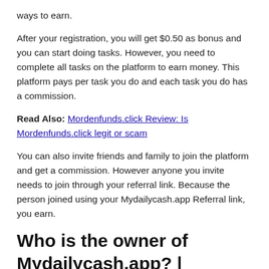ways to earn.
After your registration, you will get $0.50 as bonus and you can start doing tasks. However, you need to complete all tasks on the platform to earn money. This platform pays per task you do and each task you do has a commission.
Read Also: Mordenfunds.click Review: Is Mordenfunds.click legit or scam
You can also invite friends and family to join the platform and get a commission. However anyone you invite needs to join through your referral link. Because the person joined using your Mydailycash.app Referral link, you earn.
Who is the owner of Mydailycash.app? | Mydailycash.app Review